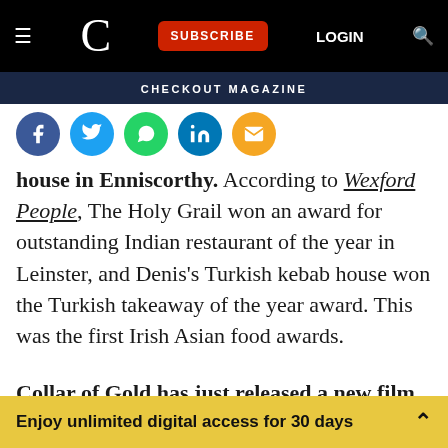C — CHECKOUT MAGAZINE — SUBSCRIBE LOGIN
[Figure (screenshot): Social share icons row: Facebook (blue), Twitter (blue), WhatsApp (green), LinkedIn (blue), Email (orange)]
house in Enniscorthy. According to Wexford People, The Holy Grail won an award for outstanding Indian restaurant of the year in Leinster, and Denis's Turkish kebab house won the Turkish takeaway of the year award. This was the first Irish Asian food awards.
Collar of Gold has just released a new film. The pure Irish rapeseed oil brand is produced through a patented process, where the oil is first extracted from seeds. Afterwards, water vapour helps rid the oil of its
Enjoy unlimited digital access for 30 days